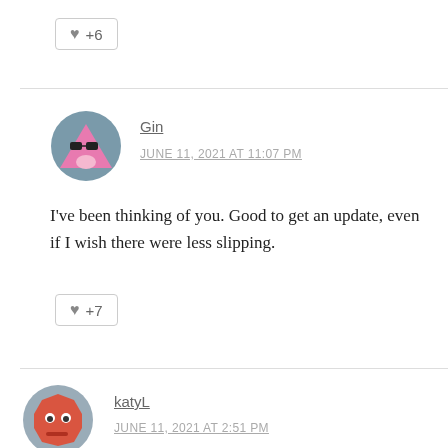[Figure (other): Like button with heart icon showing +6]
[Figure (other): Avatar for user Gin - pink triangle character with sunglasses on grey circular background]
Gin
JUNE 11, 2021 AT 11:07 PM
I've been thinking of you. Good to get an update, even if I wish there were less slipping.
[Figure (other): Like button with heart icon showing +7]
[Figure (other): Avatar for user katyL - red octagon face emoji on grey circular background]
katyL
JUNE 11, 2021 AT 2:51 PM